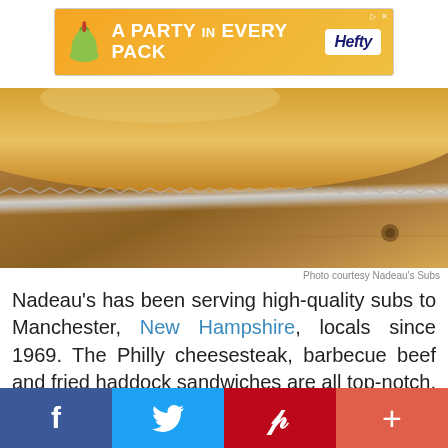[Figure (other): Hefty brand advertisement banner: orange gradient background with logo icon, text 'A PARTY in EVERY PACK' and Hefty logo in white box]
[Figure (photo): Close-up photo of a sub sandwich roll on a wooden cutting board with a serrated knife, warm golden-brown tones]
Photo courtesy Nadeau's Subs
Nadeau's has been serving high-quality subs to Manchester, New Hampshire, locals since 1969. The Philly cheesesteak, barbecue beef and fried haddock sandwiches are all top-notch, but if you go, get the famous steak tip sub. This sub is made with USDA choice sliced sirloin that's been seasoned with a secret spice blend and seared on the grill with sliced peppers and onions. You might
[Figure (other): Social media share buttons bar: Facebook (blue), Twitter (blue), Pinterest (red), More/plus (coral-red)]